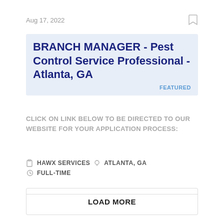Aug 17, 2022
BRANCH MANAGER - Pest Control Service Professional - Atlanta, GA
FEATURED
CLICK ON LINK BELOW TO BE DIRECTED TO OUR WEBSITE FOR YOUR APPLICATION PROCESS:
HAWX SERVICES   ATLANTA, GA   FULL-TIME
LOAD MORE